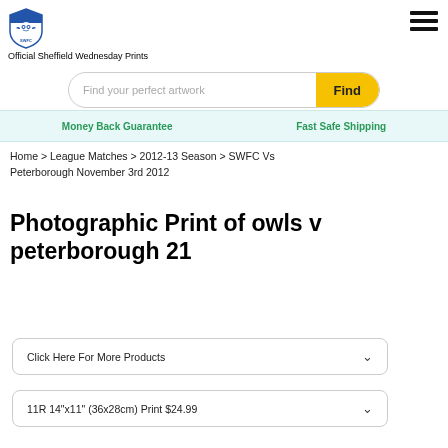Official Sheffield Wednesday Prints
Find your perfect artwork
Money Back Guarantee   Fast Safe Shipping
Home > League Matches > 2012-13 Season > SWFC Vs Peterborough November 3rd 2012
Photographic Print of owls v peterborough 21
Click Here For More Products
11R 14"x11" (36x28cm) Print $24.99